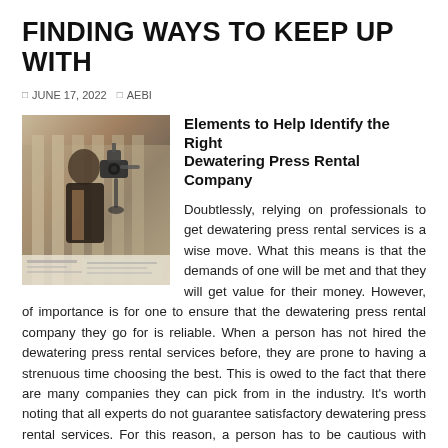FINDING WAYS TO KEEP UP WITH
JUNE 17, 2022   AEBI
Elements to Help Identify the Right Dewatering Press Rental Company
[Figure (photo): A person in formal attire being filmed by a camera on a gimbal stabilizer, with newspaper visible in the foreground.]
Doubtlessly, relying on professionals to get dewatering press rental services is a wise move. What this means is that the demands of one will be met and that they will get value for their money. However, of importance is for one to ensure that the dewatering press rental company they go for is reliable. When a person has not hired the dewatering press rental services before, they are prone to having a strenuous time choosing the best. This is owed to the fact that there are many companies they can pick from in the industry. It’s worth noting that all experts do not guarantee satisfactory dewatering press rental services. For this reason, a person has to be cautious with their selection process. For this, one will need to